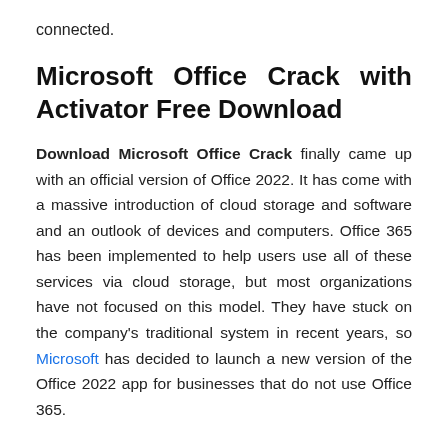connected.
Microsoft Office Crack with Activator Free Download
Download Microsoft Office Crack finally came up with an official version of Office 2022. It has come with a massive introduction of cloud storage and software and an outlook of devices and computers. Office 365 has been implemented to help users use all of these services via cloud storage, but most organizations have not focused on this model. They have stuck on the company's traditional system in recent years, so Microsoft has decided to launch a new version of the Office 2022 app for businesses that do not use Office 365.